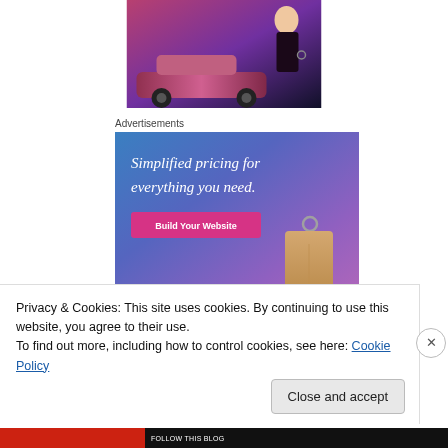[Figure (photo): Partial cropped image showing an Elvis-themed pink Cadillac photograph at the top of the page]
Advertisements
[Figure (other): Web advertisement banner with blue-to-purple gradient background reading 'Simplified pricing for everything you need.' with a pink 'Build Your Website' button and a price tag illustration]
Privacy & Cookies: This site uses cookies. By continuing to use this website, you agree to their use.
To find out more, including how to control cookies, see here: Cookie Policy